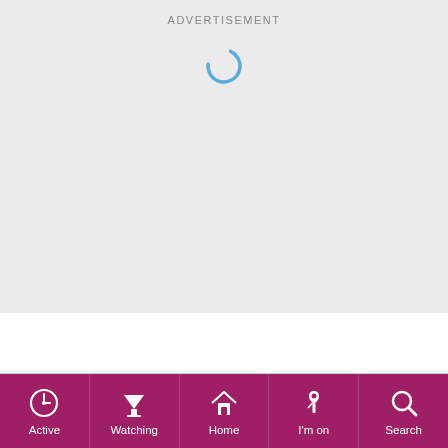ADVERTISEMENT
[Figure (other): Loading spinner — a partial circle arc in blue indicating content loading]
Active | Watching | Home | I'm on | Search